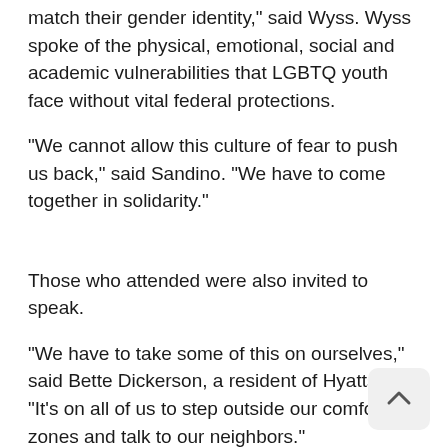match their gender identity,” said Wyss. Wyss spoke of the physical, emotional, social and academic vulnerabilities that LGBTQ youth face without vital federal protections.
“We cannot allow this culture of fear to push us back,” said Sandino. “We have to come together in solidarity.”
Those who attended were also invited to speak.
“We have to take some of this on ourselves,” said Bette Dickerson, a resident of Hyattsville. “It’s on all of us to step outside our comfort zones and talk to our neighbors.”
The purpose of the Community Conversation se is “to build community among residents and take